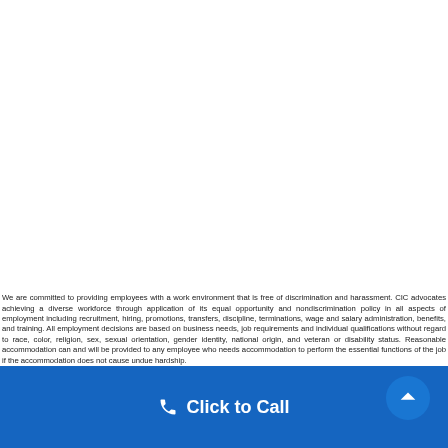We are committed to providing employees with a work environment that is free of discrimination and harassment. CIC advocates achieving a diverse workforce through application of its equal opportunity and nondiscrimination policy in all aspects of employment including recruitment, hiring, promotions, transfers, discipline, terminations, wage and salary administration, benefits, and training. All employment decisions are based on business needs, job requirements and individual qualifications without regard to race, color, religion, sex, sexual orientation, gender identity, national origin, and veteran or disability status. Reasonable accommodation can and will be provided to any employee who needs accommodation to perform the essential functions of the job if the accommodation does not cause undue hardship.
Click to Call